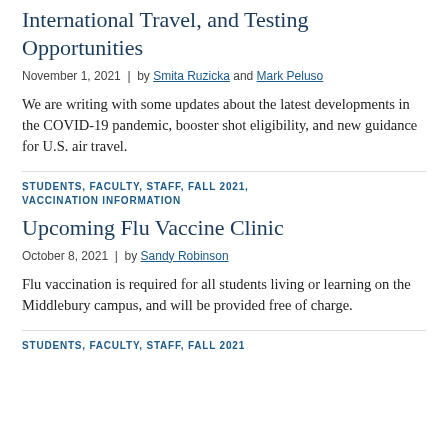International Travel, and Testing Opportunities
November 1, 2021  |  by Smita Ruzicka and Mark Peluso
We are writing with some updates about the latest developments in the COVID-19 pandemic, booster shot eligibility, and new guidance for U.S. air travel.
STUDENTS, FACULTY, STAFF, FALL 2021, VACCINATION INFORMATION
Upcoming Flu Vaccine Clinic
October 8, 2021  |  by Sandy Robinson
Flu vaccination is required for all students living or learning on the Middlebury campus, and will be provided free of charge.
STUDENTS, FACULTY, STAFF, FALL 2021